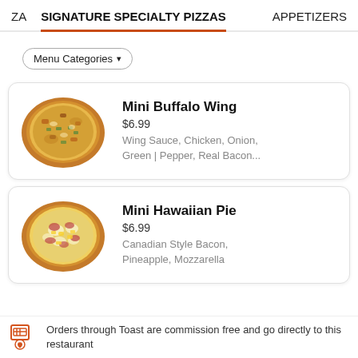ZA  SIGNATURE SPECIALTY PIZZAS  APPETIZERS
Menu Categories ▾
[Figure (photo): Mini Buffalo Wing pizza, viewed from above, topped with chicken, onion, green pepper, real bacon, in a round shape with visible cheese and toppings]
Mini Buffalo Wing
$6.99
Wing Sauce, Chicken, Onion, Green | Pepper, Real Bacon...
[Figure (photo): Mini Hawaiian Pie pizza viewed from above with Canadian style bacon, pineapple, and mozzarella cheese topping]
Mini Hawaiian Pie
$6.99
Canadian Style Bacon, Pineapple, Mozzarella
Orders through Toast are commission free and go directly to this restaurant